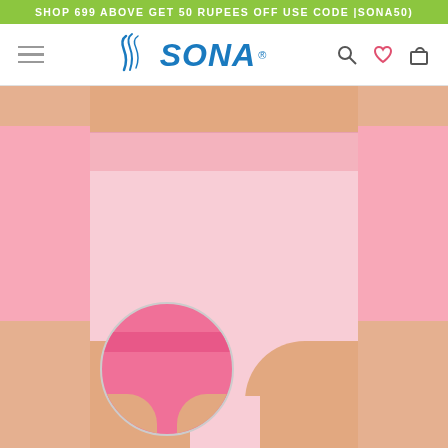SHOP 699 ABOVE GET 50 RUPEES OFF USE CODE |SONA50)
[Figure (logo): SONA brand logo with stylized swirl and registered trademark symbol]
[Figure (photo): Product photo of women's pink cotton briefs/panties on a model, with a circular inset thumbnail showing a bright pink variant]